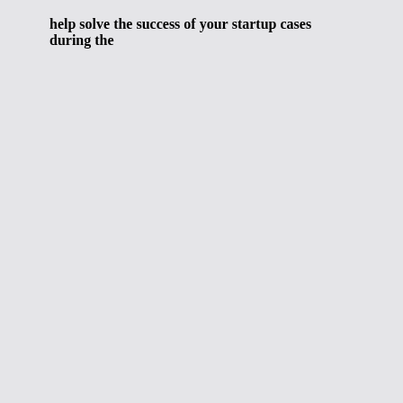help solve the success of your startup cases during the